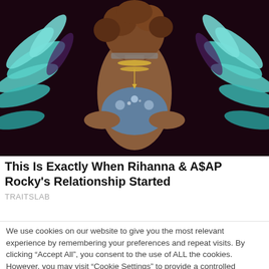[Figure (photo): Photo of a woman in a carnival/festival costume with large blue feathered wings, jeweled accessories, and ornate bodypiece, curly hair, dark background]
This Is Exactly When Rihanna & A$AP Rocky's Relationship Started
TRAITSLAB
We use cookies on our website to give you the most relevant experience by remembering your preferences and repeat visits. By clicking "Accept All", you consent to the use of ALL the cookies. However, you may visit "Cookie Settings" to provide a controlled consent.